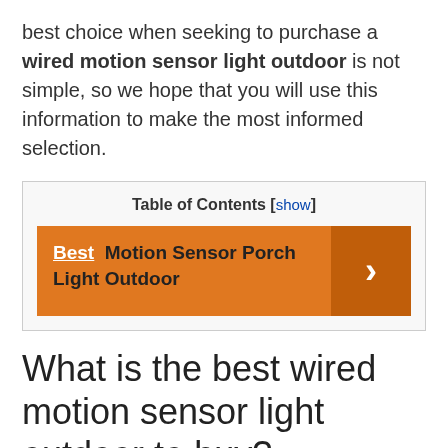best choice when seeking to purchase a wired motion sensor light outdoor is not simple, so we hope that you will use this information to make the most informed selection.
| Table of Contents [show] |
| Best  Motion Sensor Porch Light Outdoor | › |
What is the best wired motion sensor light outdoor to buy?